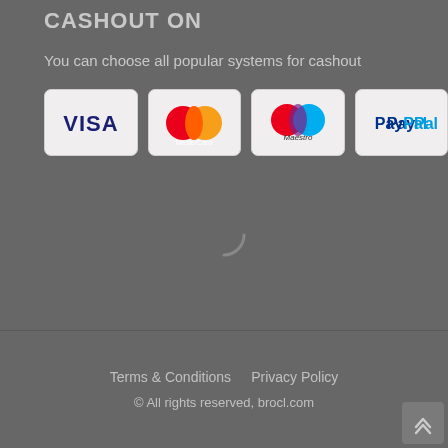CASHOUT ON
You can choose all popular systems for cashout
[Figure (infographic): Four payment method logos in rounded rectangle badges: VISA (blue text on white), MasterCard (red and orange circles on white), Maestro (red and blue circles on white), PayPal (blue text on white)]
[Figure (other): Loading spinner arc, partially visible, grey curved line on grey background]
Terms & Conditions   Privacy Policy
© All rights reserved, brocl.com